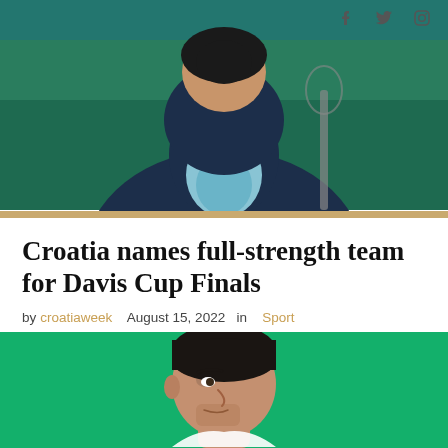[Social icons: Facebook, Twitter, Instagram]
[Figure (photo): Cropped photo of a tennis player in a dark blue and light blue jacket, seen from shoulders up, holding a racket, against a green background. A gold/tan horizontal bar is at the bottom of the image.]
Croatia names full-strength team for Davis Cup Finals
by croatiaweek   August 15, 2022   in   Sport
Read more...
[Figure (photo): Photo of a man (close-up, face in profile/three-quarter view) with short dark hair and stubble beard, against a bright green background.]